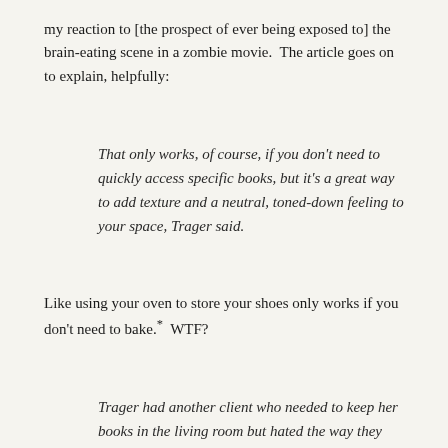my reaction to [the prospect of ever being exposed to] the brain-eating scene in a zombie movie.  The article goes on to explain, helpfully:
That only works, of course, if you don't need to quickly access specific books, but it's a great way to add texture and a neutral, toned-down feeling to your space, Trager said.
Like using your oven to store your shoes only works if you don't need to bake.*  WTF?
Trager had another client who needed to keep her books in the living room but hated the way they looked. She created covers for each of her recessed shelves out of thin paperboard. When she wanted a particular book, she could pull the covers down, but when they were up, it looked like a solid colored wall, fading